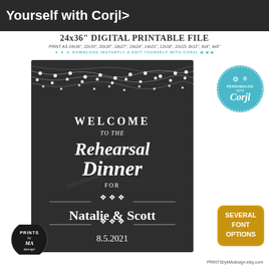Yourself with Corjl>
24x36" DIGITAL PRINTABLE FILE
PRINT AS 24x36", 22x33", 20x30", 18x27", 16x24", 14x21", 12x18", 10x15, 8x12", 6x9", 4x6"
>>> DOWNLOAD INSTANTLY & EDIT YOURSELF WITH CORJL <<<
[Figure (illustration): Chalkboard style rehearsal dinner welcome sign with string lights at the top, text reading 'Welcome to the Rehearsal Dinner for Natalie & Scott 8.5.2021' with decorative scrollwork dividers]
[Figure (logo): Teal circular badge with gear icons reading 'PERSONALIZE WITH Corjl!']
[Figure (other): Gold rounded square badge reading 'SEVERAL FONT OPTIONS']
[Figure (logo): Black circular logo reading 'PRINTS by MA design']
PRINTSbyMAdesign.etsy.com